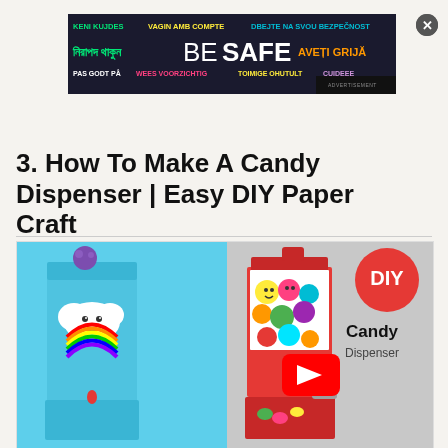[Figure (screenshot): Advertisement banner with multilingual 'BE SAFE' message on dark background with colorful text in multiple languages]
3. How To Make A Candy Dispenser | Easy DIY Paper Craft
[Figure (screenshot): Thumbnail showing two DIY paper candy dispensers - one cloud/rainbow themed and one colorful smiley ball themed - with YouTube play button, DIY logo badge, and 'Candy Dispenser' text]